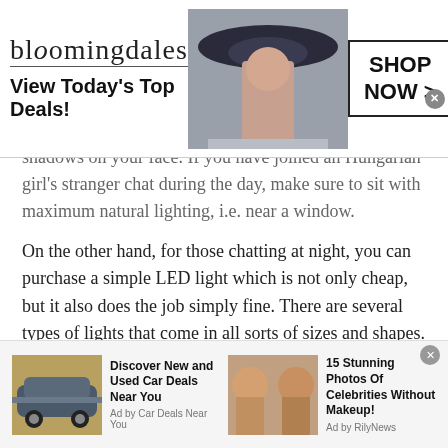[Figure (screenshot): Bloomingdales advertisement banner: logo, 'View Today's Top Deals!' tagline, woman in hat, and 'SHOP NOW >' button with close X]
shadows on your face. If you have joined an Hungarian girl's stranger chat during the day, make sure to sit with maximum natural lighting, i.e. near a window.
On the other hand, for those chatting at night, you can purchase a simple LED light which is not only cheap, but it also does the job simply fine. There are several types of lights that come in all sorts of sizes and shapes.
The Background
Do not forget about your background! Your background
[Figure (screenshot): Bottom advertisement bar with two ad items: 'Discover New and Used Car Deals Near You' by Car Deals Near You, and '15 Stunning Photos Of Celebrities Without Makeup!' by RilyNews]